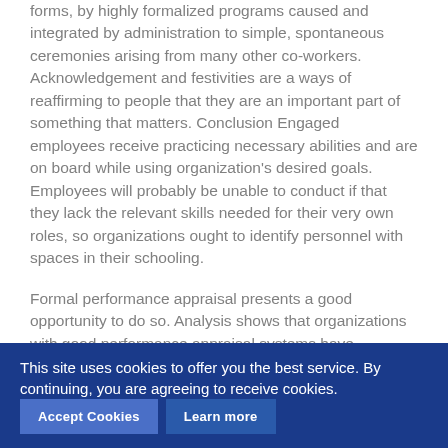forms, by highly formalized programs caused and integrated by administration to simple, spontaneous ceremonies arising from many other co-workers. Acknowledgement and festivities are a ways of reaffirming to people that they are an important part of something that matters. Conclusion Engaged employees receive practicing necessary abilities and are on board while using organization's desired goals. Employees will probably be unable to conduct if that they lack the relevant skills needed for their very own roles, so organizations ought to identify personnel with spaces in their schooling.
Formal performance appraisal presents a good opportunity to do so. Analysis shows that organizations with good performance appraisal systems have drastically higher levels of employee diamond that those which has a poor functionality appraisal program. However , pertaining to performance evaluation to identify staff with specific needs, managers first have to have a good knowledge of the
This site uses cookies to offer you the best service. By continuing, you are agreeing to receive cookies.